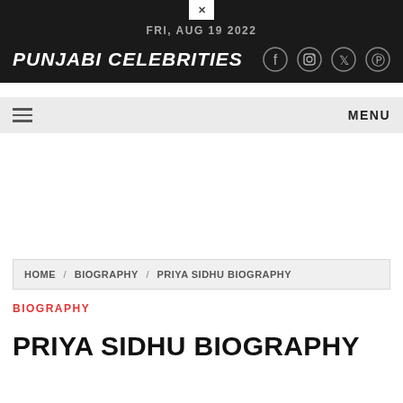FRI, AUG 19 2022
PUNJABI CELEBRITIES
HOME / BIOGRAPHY / PRIYA SIDHU BIOGRAPHY
BIOGRAPHY
PRIYA SIDHU BIOGRAPHY